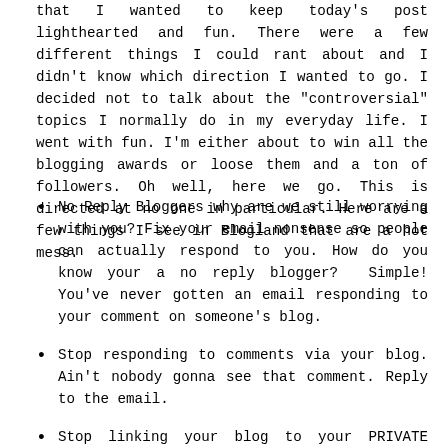that I wanted to keep today's post lighthearted and fun. There were a few different things I could rant about and I didn't know which direction I wanted to go. I decided not to talk about the "controversial" topics I normally do in my everyday life. I went with fun. I'm either about to win all the blogging awards or loose them and a ton of followers. Oh well, here we go. This is directed at no one in particular. Here are a few things I see in Blogland that are a hot mess.
No Reply Bloggers why are we still worrying with you? Fix your email nonsense so people can actually respond to you. How do you know your a no reply blogger? Simple! You've never gotten an email responding to your comment on someone's blog.
Stop responding to comments via your blog. Ain't nobody gonna see that comment. Reply to the email.
Stop linking your blog to your PRIVATE Google Plus